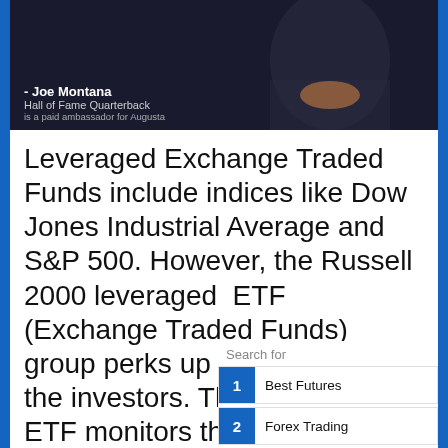[Figure (photo): Photo of Joe Montana, Hall of Fame Quarterback, noted as a paid ambassador for Augusta, with a blue button overlay at top.]
Leveraged Exchange Traded Funds include indices like Dow Jones Industrial Average and S&P 500. However, the Russell 2000 leveraged  ETF (Exchange Traded Funds) group perks up the interest of the investors. The Russell 200 ETF monitors the Russell 2000 index that has 2000 small-cap companies with 3000 stocks of Russell. As a result, 98% of the stocks in the U.S. that are publicly traded
Search for
1 Best Futures
2 Forex Trading